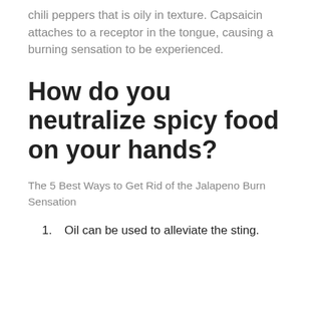chili peppers that is oily in texture. Capsaicin attaches to a receptor in the tongue, causing a burning sensation to be experienced.
How do you neutralize spicy food on your hands?
The 5 Best Ways to Get Rid of the Jalapeno Burn Sensation
1. Oil can be used to alleviate the sting.